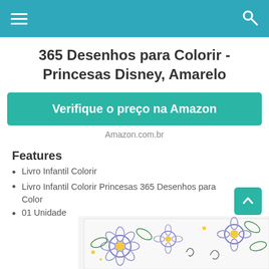365 Desenhos para Colorir - Princesas Disney, Amarelo
Verifique o preço na Amazon
Amazon.com.br
Features
Livro Infantil Colorir
Livro Infantil Colorir Princesas 365 Desenhos para Color
01 Unidade
[Figure (illustration): Decorative floral coloring book page with purple flowers, green leaves, and yellow accents in a detailed illustrated style]